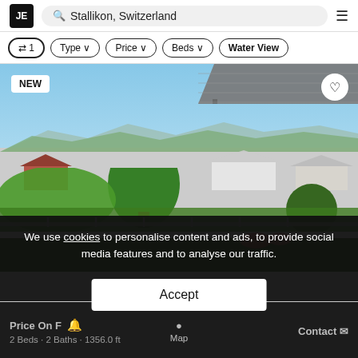JE | Q Stallikon, Switzerland | ≡
⇄ 1 | Type ∨ | Price ∨ | Beds ∨ | Water View
[Figure (photo): Exterior terrace view of a Swiss property in Stallikon with awning, green garden, trees, neighboring houses, and mountain backdrop. Blue sky visible. NEW badge top-left, heart/save icon top-right.]
We use cookies to personalise content and ads, to provide social media features and to analyse our traffic.
Accept
Price On F 🔔 Map Contact ✉
2 Beds · 2 Baths · 1356.0 ft